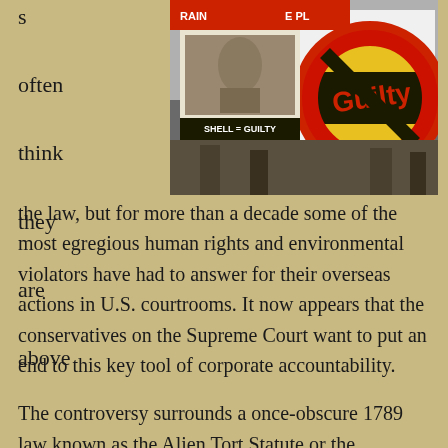s often think they are above
[Figure (photo): Protest photo showing demonstrators holding signs and flags reading 'SHELL = GUILTY' and a large flag with a crossed-out Shell logo, suggesting an environmental protest against Shell oil company.]
the law, but for more than a decade some of the most egregious human rights and environmental violators have had to answer for their overseas actions in U.S. courtrooms. It now appears that the conservatives on the Supreme Court want to put an end to this key tool of corporate accountability.

The controversy surrounds a once-obscure 1789 law known as the Alien Tort Statute or the